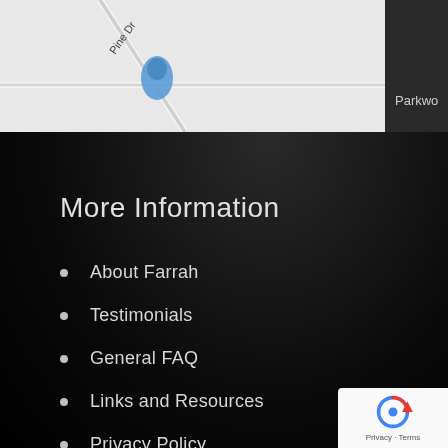[Figure (map): Partial street map showing Pine Dr and Parkwood area with a blue map pin marker on a light grey background]
More Information
About Farrah
Testimonials
General FAQ
Links and Resources
Privacy Policy
Terms of Use
[Figure (logo): reCAPTCHA badge with circular arrow logo and Privacy - Terms text]